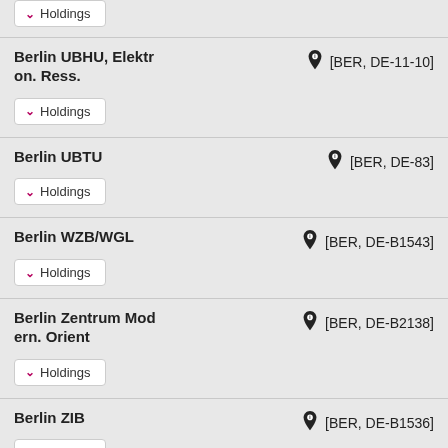Holdings (partial top entry)
Berlin UBHU, Elektron. Ress. [BER, DE-11-10] Holdings
Berlin UBTU [BER, DE-83] Holdings
Berlin WZB/WGL [BER, DE-B1543] Holdings
Berlin Zentrum Modern. Orient [BER, DE-B2138] Holdings
Berlin ZIB [BER, DE-B1536] Holdings